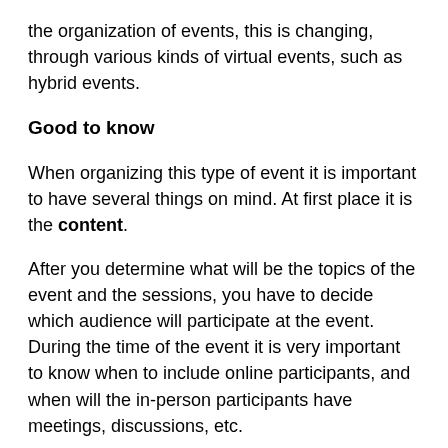the organization of events, this is changing, through various kinds of virtual events, such as hybrid events.
Good to know
When organizing this type of event it is important to have several things on mind. At first place it is the content.
After you determine what will be the topics of the event and the sessions, you have to decide which audience will participate at the event. During the time of the event it is very important to know when to include online participants, and when will the in-person participants have meetings, discussions, etc.
Even if everything is arranged and works before the beginning of the event, organizer should still have a crisis plan. This plan has to cover every least thing that could go wrong, and a list of